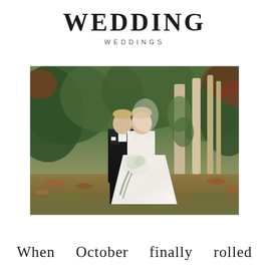WEDDING
WEDDINGS
[Figure (photo): A bride and groom standing together in a wooded outdoor setting with autumn leaves on the ground. The groom wears a black tuxedo with bow tie. The bride wears a white ball gown and holds a large bouquet of white and greenery flowers. Trees with green foliage are in the background.]
When   October   finally   rolled